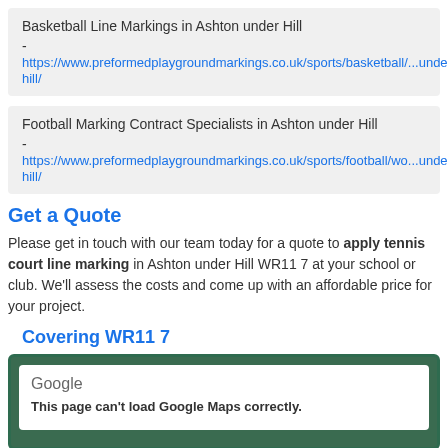Basketball Line Markings in Ashton under Hill - https://www.preformedplaygroundmarkings.co.uk/sports/basketball/...under-hill/
Football Marking Contract Specialists in Ashton under Hill - https://www.preformedplaygroundmarkings.co.uk/sports/football/wo...under-hill/
Get a Quote
Please get in touch with our team today for a quote to apply tennis court line marking in Ashton under Hill WR11 7 at your school or club. We'll assess the costs and come up with an affordable price for your project.
Covering WR11 7
[Figure (screenshot): Google Maps embed showing error: 'This page can't load Google Maps correctly.']